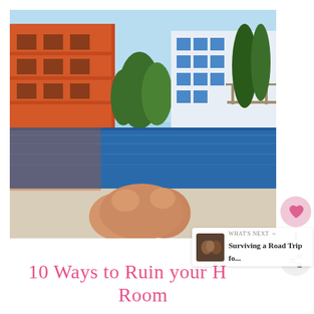[Figure (photo): A person relaxing at an infinity pool with orange and white apartment buildings on either side and trees in the background. Person's legs visible in foreground resting on pool edge.]
10 Ways to Ruin your Hotel Room